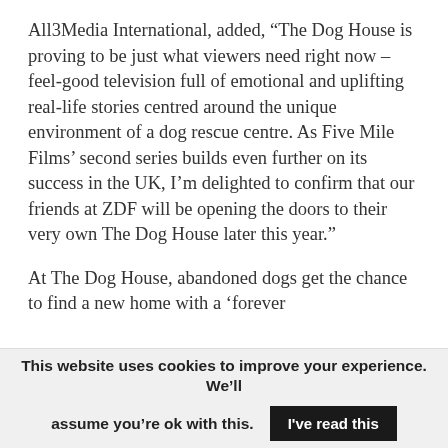All3Media International, added, “The Dog House is proving to be just what viewers need right now – feel-good television full of emotional and uplifting real-life stories centred around the unique environment of a dog rescue centre. As Five Mile Films’ second series builds even further on its success in the UK, I’m delighted to confirm that our friends at ZDF will be opening the doors to their very own The Dog House later this year.”
At The Dog House, abandoned dogs get the chance to find a new home with a ‘forever
This website uses cookies to improve your experience. We’ll assume you’re ok with this. I’ve read this